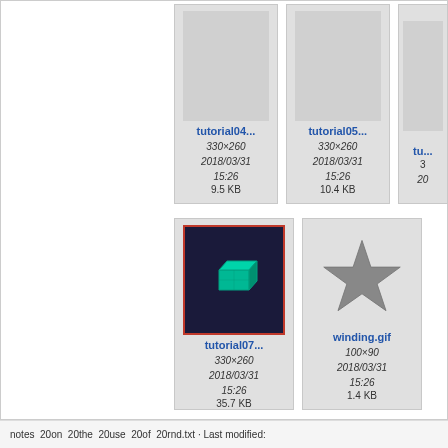[Figure (screenshot): File browser thumbnail grid showing image files: tutorial04..., tutorial05..., tu... (partially visible), tutorial07..., winding.gif]
tutorial04...
330×260
2018/03/31
15:26
9.5 KB
tutorial05...
330×260
2018/03/31
15:26
10.4 KB
tu...
tutorial07...
330×260
2018/03/31
15:26
35.7 KB
winding.gif
100×90
2018/03/31
15:26
1.4 KB
notes 20on 20the 20use 20of 20rnd.txt · Last modified: